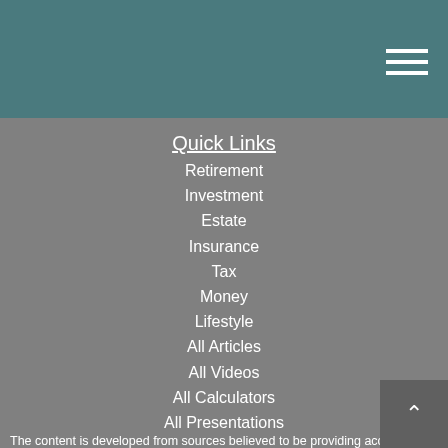Navigation header with hamburger menu
Quick Links
Retirement
Investment
Estate
Insurance
Tax
Money
Lifestyle
All Articles
All Videos
All Calculators
All Presentations
Check the background of your financial professional on FINRA's BrokerCheck.
The content is developed from sources believed to be providing accurate information. The information in this material is not intended as tax or legal advice. Please consult legal or tax professionals for specific information regarding your individual si... Some of this material was developed and produced by FMG Suite to provide information on a topic that may be of interest. FMG Suite is not affiliated with the named representative, broker - dealer, state - or SEC - registered investment advisory